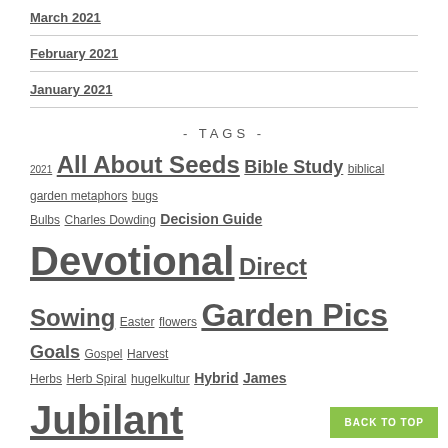March 2021
February 2021
January 2021
- TAGS -
2021 All About Seeds Bible Study biblical garden metaphors bugs Bulbs Charles Dowding Decision Guide Devotional Direct Sowing Easter flowers Garden Pics Goals Gospel Harvest Herbs Herb Spiral hugelkultur Hybrid James Jubilant Gardener Jubilee Mel Bartholomew Memos meristem Microclimates New Testament Nursery Transplants vs